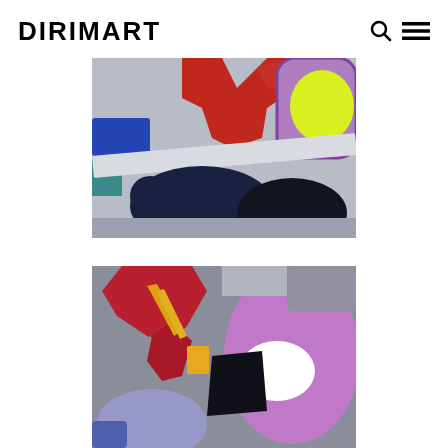DIRIMART
[Figure (photo): Close-up of colorful abstract artwork with bold shapes in red, blue, dark navy, purple, yellow-green, and white on a grey background]
[Figure (photo): Close-up of colorful abstract artwork with bold shapes in red, purple, yellow, blue, white, and grey tones]